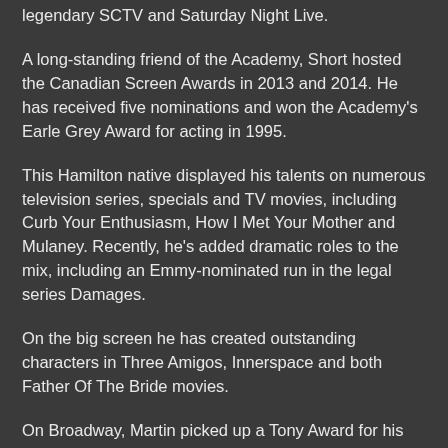legendary SCTV and Saturday Night Live.
A long-standing friend of the Academy, Short hosted the Canadian Screen Awards in 2013 and 2014. He has received five nominations and won the Academy's Earle Grey Award for acting in 1995.
This Hamilton native displayed his talents on numerous television series, specials and TV movies, including Curb Your Enthusiasm, How I Met Your Mother and Mulaney. Recently, he's added dramatic roles to the mix, including an Emmy-nominated run in the legal series Damages.
On the big screen he has created outstanding characters in Three Amigos, Innerspace and both Father Of The Bride movies.
On Broadway, Martin picked up a Tony Award for his part in Little Me and a nomination for The Goodbye Girl. Recently he toured with Steve Martin in An Evening You'll Forget for the Rest of Your Life.
Martin Short is a Member of the Order of Canada and author of the 2014 memoir I Must Say: My Life As A Humble Comedy Legend.